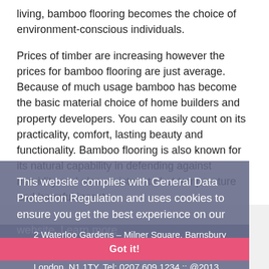living, bamboo flooring becomes the choice of environment-conscious individuals.
Prices of timber are increasing however the prices for bamboo flooring are just average. Because of much usage bamboo has become the basic material choice of home builders and property developers. You can easily count on its practicality, comfort, lasting beauty and functionality. Bamboo flooring is also known for its natural capability in defending against humidity and also resistant to hot temperature and harmful insects.
This website complies with General Data Protection Regulation and uses cookies to ensure you get the best experience on our website  Learn more
2 Waterloo Gardens – Milner Square, Barnsbury Street, London, N1 1TY, Tel: 0207 609 1234 :: @2013 theflooringgroup :: All Rights reserved :: Designed by Nisoma-Web ltd.